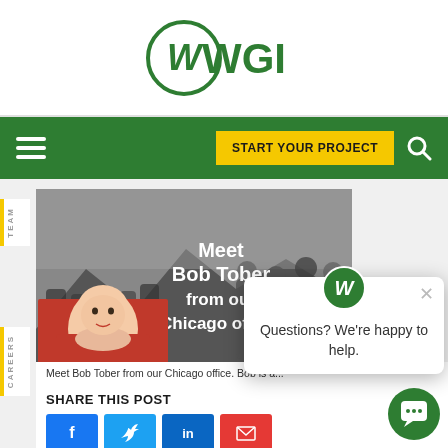[Figure (logo): WGI company logo — circular W mark in green with WGI text]
START YOUR PROJECT | navigation bar with hamburger menu and search icon
[Figure (photo): Collage: black-and-white group photo of people outdoors with mountain background, text overlay 'Meet Bob Tober from our Chicago office.'; color inset photo of a baby in a red car seat]
Meet Bob Tober from our Chicago office. Bob is a...
SHARE THIS POST
[Figure (infographic): Social share buttons: Facebook (blue), Twitter (blue), LinkedIn (blue), Email (red)]
[Figure (other): Chat popup overlay with WGI logo and text 'Questions? We're happy to help.' with close X button]
[Figure (other): Green circular chat bubble button in bottom right corner]